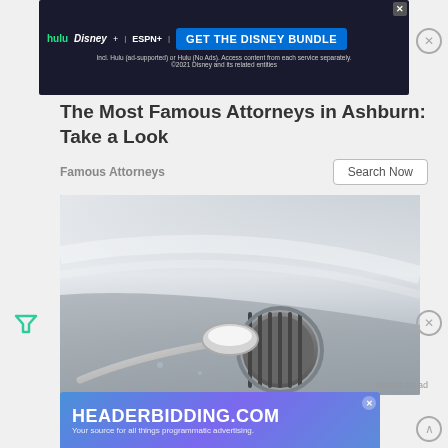[Figure (screenshot): Disney Bundle advertisement banner with Hulu, Disney+, ESPN+ logos and 'GET THE DISNEY BUNDLE' button. Text: Incl. Hulu (ad-supported) or Hulu (No Ads). Access content from each service separately. ©2021 Disney and its related entities]
The Most Famous Attorneys in Ashburn: Take a Look
Famous Attorneys
[Figure (photo): Photo of a stainless steel kitchen sink with a spoon holding white powder (baking soda) over the drain]
Report an ad
[Figure (screenshot): HEADERBIDDING.COM advertisement banner. Text: Your source for all things programmatic advertising.]